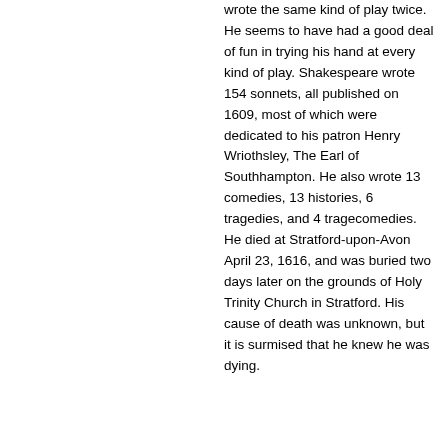wrote the same kind of play twice. He seems to have had a good deal of fun in trying his hand at every kind of play. Shakespeare wrote 154 sonnets, all published on 1609, most of which were dedicated to his patron Henry Wriothsley, The Earl of Southhampton. He also wrote 13 comedies, 13 histories, 6 tragedies, and 4 tragecomedies. He died at Stratford-upon-Avon April 23, 1616, and was buried two days later on the grounds of Holy Trinity Church in Stratford. His cause of death was unknown, but it is surmised that he knew he was dying.